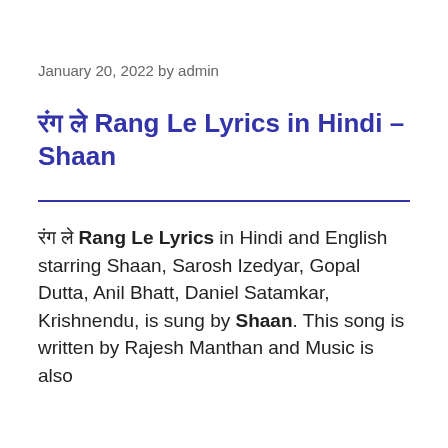January 20, 2022 by admin
रंग ले Rang Le Lyrics in Hindi – Shaan
रंग ले Rang Le Lyrics in Hindi and English starring Shaan, Sarosh Izedyar, Gopal Dutta, Anil Bhatt, Daniel Satamkar, Krishnendu, is sung by Shaan. This song is written by Rajesh Manthan and Music is also